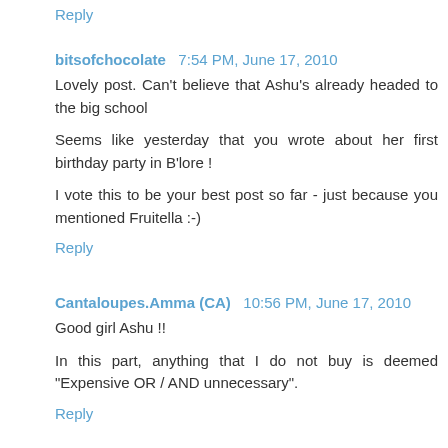Reply
bitsofchocolate 7:54 PM, June 17, 2010
Lovely post. Can't believe that Ashu's already headed to the big school
Seems like yesterday that you wrote about her first birthday party in B'lore !
I vote this to be your best post so far - just because you mentioned Fruitella :-)
Reply
Cantaloupes.Amma (CA) 10:56 PM, June 17, 2010
Good girl Ashu !!
In this part, anything that I do not buy is deemed "Expensive OR / AND unnecessary".
Reply